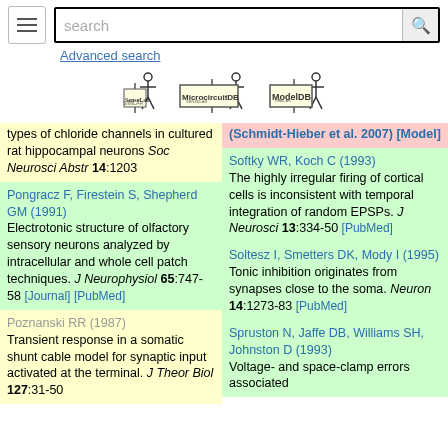search [search box] [Advanced search]
[Figure (logo): SenseLab logo]
[Figure (logo): MicrocircuitDB logo]
[Figure (logo): ModelDB logo]
types of chloride channels in cultured rat hippocampal neurons Soc Neurosci Abstr 14:1203
(Schmidt-Hieber et al. 2007) [Model]
Pongracz F, Firestein S, Shepherd GM (1991) Electrotonic structure of olfactory sensory neurons analyzed by intracellular and whole cell patch techniques. J Neurophysiol 65:747-58 [Journal] [PubMed]
Softky WR, Koch C (1993) The highly irregular firing of cortical cells is inconsistent with temporal integration of random EPSPs. J Neurosci 13:334-50 [PubMed]
Poznanski RR (1987) Transient response in a somatic shunt cable model for synaptic input activated at the terminal. J Theor Biol 127:31-50
Soltesz I, Smetters DK, Mody I (1995) Tonic inhibition originates from synapses close to the soma. Neuron 14:1273-83 [PubMed]
Spruston N, Jaffe DB, Williams SH, Johnston D (1993) Voltage- and space-clamp errors associated